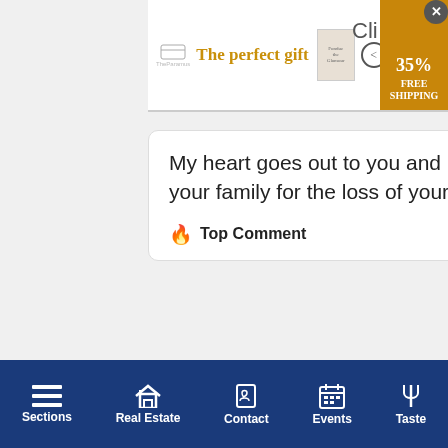[Figure (screenshot): Top advertisement banner: 'The perfect gift' in gold text with book image, navigation arrows, bowl image, and '35% FREE SHIPPING' badge]
My heart goes out to you and your family for the loss of your...
Top Comment  👍 3
Fantasti... Shinneco...
Top C...
[Figure (screenshot): Advertisement: 'Lose the trolls. Keep the comments. It's time to save']
Sections  Real Estate  Contact  Events  Taste